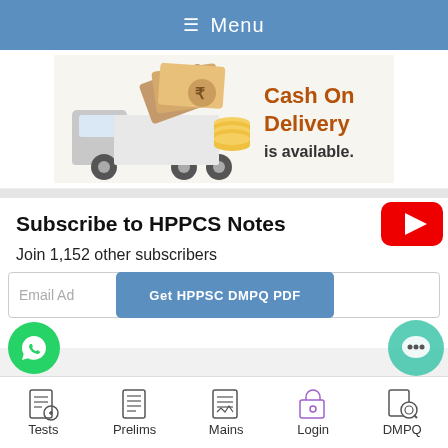Menu
[Figure (illustration): Cash On Delivery banner with a truck carrying banknotes and coins. Text reads 'Cash On Delivery is available.']
[Figure (logo): YouTube play button logo (red rounded rectangle with white triangle)]
Subscribe to HPPCS Notes
Join 1,152 other subscribers
Email Address
Get HPPSC DMPQ PDF
[Figure (logo): WhatsApp floating button (green circle with phone icon)]
[Figure (illustration): Chat bubble floating button (teal circle with three dots)]
Tests  Prelims  Mains  Login  DMPQ